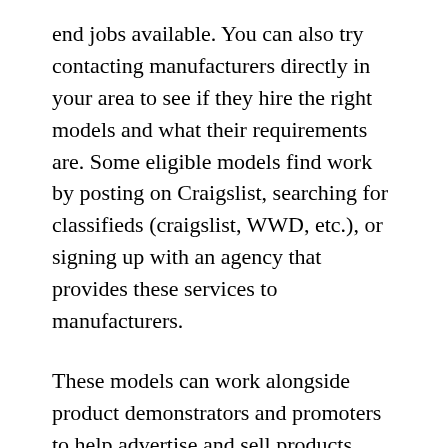end jobs available. You can also try contacting manufacturers directly in your area to see if they hire the right models and what their requirements are. Some eligible models find work by posting on Craigslist, searching for classifieds (craigslist, WWD, etc.), or signing up with an agency that provides these services to manufacturers.
These models can work alongside product demonstrators and promoters to help advertise and sell products. This direct promotion will reduce the need for professional models or large-scale advertising campaigns, thereby reducing their demand for jobs. Many agencies also have “open calls” where aspiring models